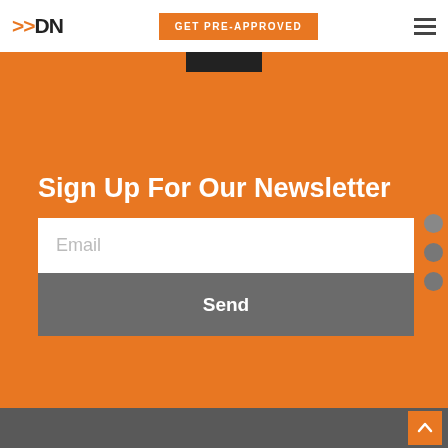[Figure (screenshot): Website header with DN logo (orange double arrows + DN text), orange GET PRE-APPROVED button, and hamburger menu icon. Below header is a partial photo of a person in red and black clothing.]
Sign Up For Our Newsletter
[Figure (other): Email input field with placeholder text 'Email' and a gray Send button below it. Three navigation dots on the right side.]